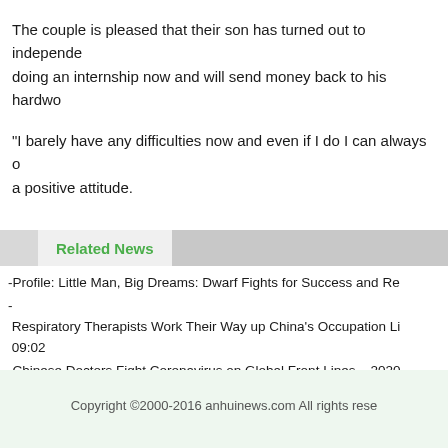The couple is pleased that their son has turned out to independently doing an internship now and will send money back to his hardwo
“I barely have any difficulties now and even if I do I can always o a positive attitude.
Related News
-Profile: Little Man, Big Dreams: Dwarf Fights for Success and Re
- Respiratory Therapists Work Their Way up China’s Occupation Li 09:02
-Chinese Doctors Fight Coronavirus on Global Front Lines    2020
-Walking on a Knife-edge -- Detecting Nucleic Acid of Novel Coro
Copyright ©2000-2016 anhuinews.com All rights rese